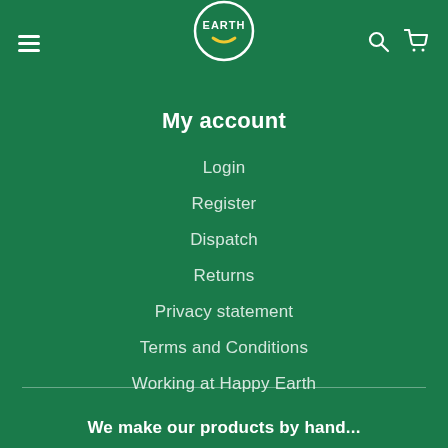[Figure (logo): Happy Earth logo — circular badge with 'EARTH' text and a yellow smile, white outline, on green background]
My account
Login
Register
Dispatch
Returns
Privacy statement
Terms and Conditions
Working at Happy Earth
We make our products by hand...